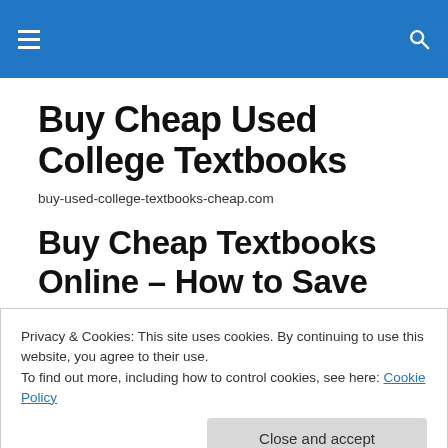Buy Cheap Used College Textbooks
buy-used-college-textbooks-cheap.com
Buy Cheap Textbooks Online – How to Save Money Buying
Privacy & Cookies: This site uses cookies. By continuing to use this website, you agree to their use.
To find out more, including how to control cookies, see here: Cookie Policy
Close and accept
1. Never buy a new textbook. You can save a $100 per